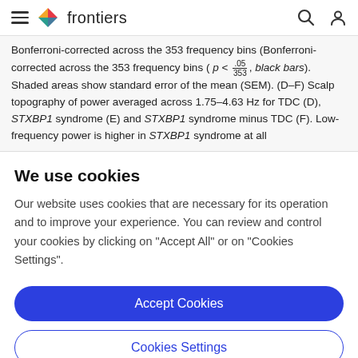frontiers
Bonferroni-corrected across the 353 frequency bins (p < .05/353, black bars). Shaded areas show standard error of the mean (SEM). (D–F) Scalp topography of power averaged across 1.75–4.63 Hz for TDC (D), STXBP1 syndrome (E) and STXBP1 syndrome minus TDC (F). Low-frequency power is higher in STXBP1 syndrome at all
We use cookies
Our website uses cookies that are necessary for its operation and to improve your experience. You can review and control your cookies by clicking on "Accept All" or on "Cookies Settings".
Accept Cookies
Cookies Settings